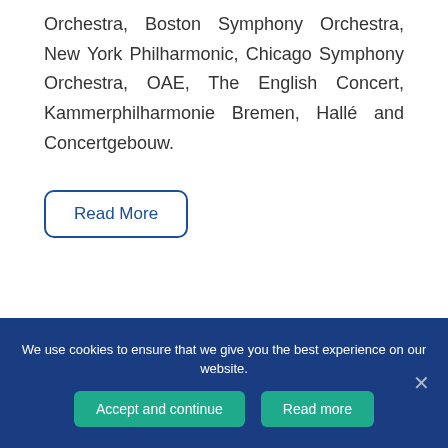Orchestra, Boston Symphony Orchestra, New York Philharmonic, Chicago Symphony Orchestra, OAE, The English Concert, Kammerphilharmonie Bremen, Hallé and Concertgebouw.
Read More
We use cookies to ensure that we give you the best experience on our website.